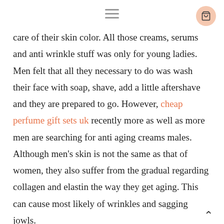≡ [hamburger menu icon] [cart icon]
care of their skin color. All those creams, serums and anti wrinkle stuff was only for young ladies. Men felt that all they necessary to do was wash their face with soap, shave, add a little aftershave and they are prepared to go. However, cheap perfume gift sets uk recently more as well as more men are searching for anti aging creams males. Although men's skin is not the same as that of women, they also suffer from the gradual regarding collagen and elastin the way they get aging. This can cause most likely of wrinkles and sagging jowls.
Most guys spend lots of of time outdoors. So, there faces are come across the sun and other elements. That could be pessimistic. But, there are little issues that you is capable of